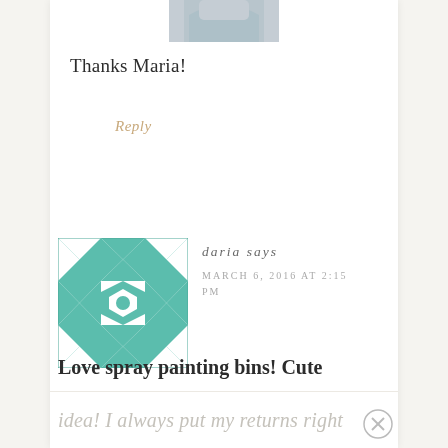[Figure (photo): Partially cropped avatar photo showing lower portion of a figure in light blue/grey clothing]
Thanks Maria!
Reply
[Figure (illustration): Teal and white geometric quilt-pattern avatar icon for user 'daria']
daria says
MARCH 6, 2016 AT 2:15 PM
Love spray painting bins! Cute idea! I always put my returns right
idea! I always put my returns right